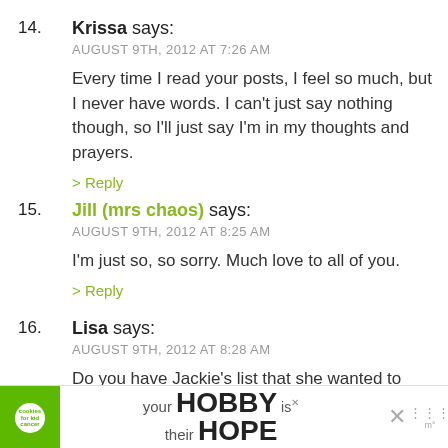14. Krissa says: AUGUST 9TH, 2012 AT 7:26 AM
Every time I read your posts, I feel so much, but I never have words. I can't just say nothing though, so I'll just say I'm in my thoughts and prayers.
> Reply
15. Jill (mrs chaos) says: AUGUST 9TH, 2012 AT 8:25 AM
I'm just so, so sorry. Much love to all of you.
> Reply
16. Lisa says: AUGUST 9TH, 2012 AT 8:28 AM
Do you have Jackie's list that she wanted to accomplish for her....maybe live her list for her.
I grieve for your family, hers, friends and so many more
[Figure (screenshot): Advertisement bar at bottom: cookies for kid cancer logo on green background, text 'your HOBBY is their HOPE' with close button]